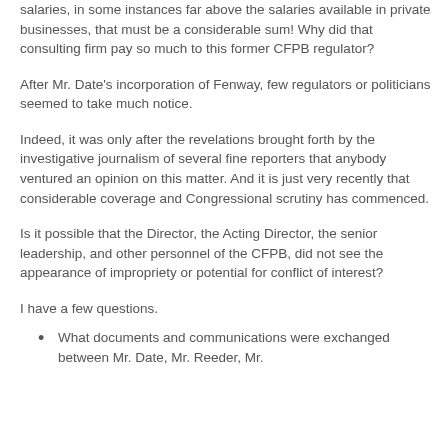salaries, in some instances far above the salaries available in private businesses, that must be a considerable sum! Why did that consulting firm pay so much to this former CFPB regulator?
After Mr. Date's incorporation of Fenway, few regulators or politicians seemed to take much notice.
Indeed, it was only after the revelations brought forth by the investigative journalism of several fine reporters that anybody ventured an opinion on this matter. And it is just very recently that considerable coverage and Congressional scrutiny has commenced.
Is it possible that the Director, the Acting Director, the senior leadership, and other personnel of the CFPB, did not see the appearance of impropriety or potential for conflict of interest?
I have a few questions.
What documents and communications were exchanged between Mr. Date, Mr. Reeder, Mr.